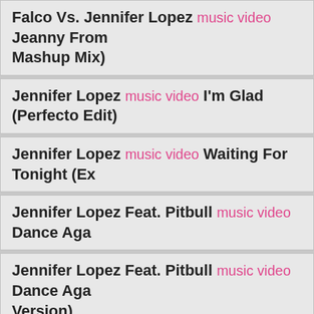Falco Vs. Jennifer Lopez music video Jeanny From... Mashup Mix)
Jennifer Lopez music video I'm Glad (Perfecto Edit)
Jennifer Lopez music video Waiting For Tonight (Ex...
Jennifer Lopez Feat. Pitbull music video Dance Aga...
Jennifer Lopez Feat. Pitbull music video Dance Aga... Version)
Jennifer Lopez Feat. Styles And Jadakiss music vi...
LL Cool J Feat. Jennifer Lopez music video Control...